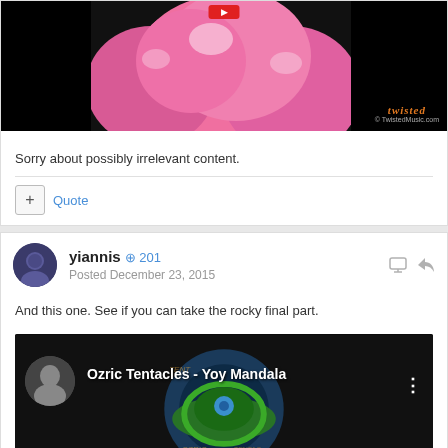[Figure (screenshot): Video thumbnail showing pink balloons with black background and Twisted Music logo in bottom right]
Sorry about possibly irrelevant content.
+ Quote
yiannis  201
Posted December 23, 2015
And this one. See if you can take the rocky final part.
[Figure (screenshot): YouTube video thumbnail for Ozric Tentacles - Yoy Mandala showing album art with green dragon/tentacle design]